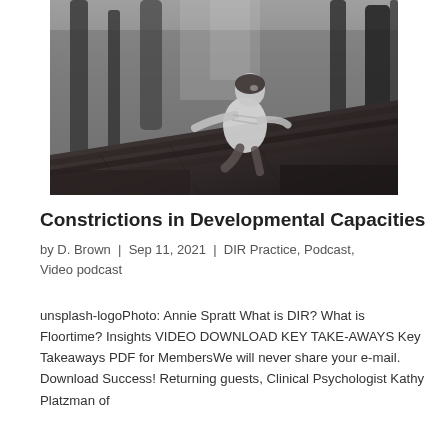[Figure (photo): Black and white photograph of a young child climbing on a large fallen log in a forest setting, looking upward. Shot with shallow depth of field.]
Constrictions in Developmental Capacities
by D. Brown | Sep 11, 2021 | DIR Practice, Podcast, Video podcast
unsplash-logoPhoto: Annie Spratt What is DIR? What is Floortime? Insights VIDEO DOWNLOAD KEY TAKE-AWAYS Key Takeaways PDF for MembersWe will never share your e-mail. Download Success! Returning guests, Clinical Psychologist Kathy Platzman of